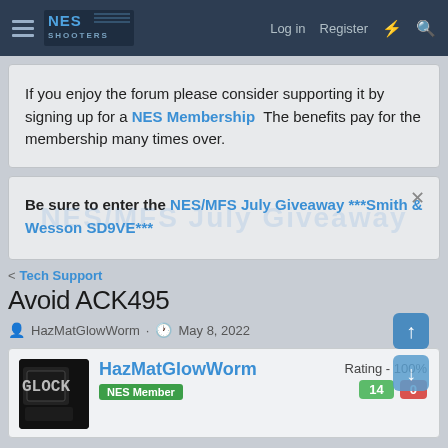NES SHOOTERS | Log in | Register
If you enjoy the forum please consider supporting it by signing up for a NES Membership  The benefits pay for the membership many times over.
Be sure to enter the NES/MFS July Giveaway ***Smith & Wesson SD9VE***
< Tech Support
Avoid ACK495
HazMatGlowWorm · May 8, 2022
HazMatGlowWorm NES Member Rating - 100% 14 0